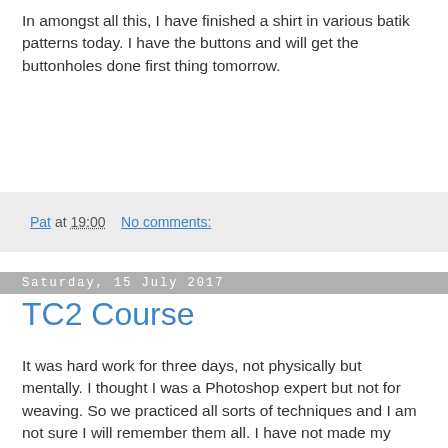In amongst all this, I have finished a shirt in various batik patterns today. I have the buttons and will get the buttonholes done first thing tomorrow.
Pat at 19:00   No comments:
Saturday, 15 July 2017
TC2 Course
It was hard work for three days, not physically but mentally. I thought I was a Photoshop expert but not for weaving. So we practiced all sorts of techniques and I am not sure I will remember them all. I have not made my mind up one way or the other about buying one. I have sent for a cost and my nephew. He is chief engineer for a group including Currys and PC World and knows about floor loading etc. My second problem is where to site it in the house and what to do about the pump. Sally Packer has her eye on the Marada so that